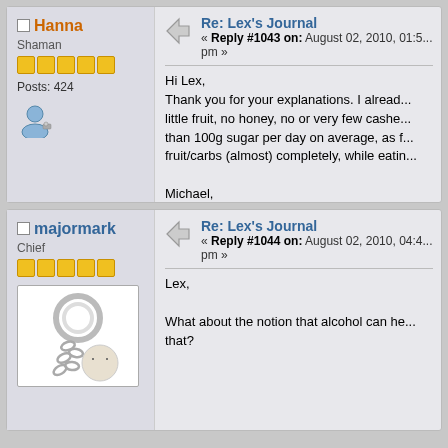Hanna - Shaman - Posts: 424
Re: Lex's Journal « Reply #1043 on: August 02, 2010, 01:5... pm »
Hi Lex,
Thank you for your explanations. I already... little fruit, no honey, no or very few cashe... than 100g sugar per day on average, as f... fruit/carbs (almost) completely, while eatin...

Michael,
I think that Wrangham could be right and ... years ago.
« Last Edit: August 02, 2010, 03:17:06 pm by Ha...
majormark - Chief
Re: Lex's Journal « Reply #1044 on: August 02, 2010, 04:4... pm »
Lex,

What about the notion that alcohol can he... that?